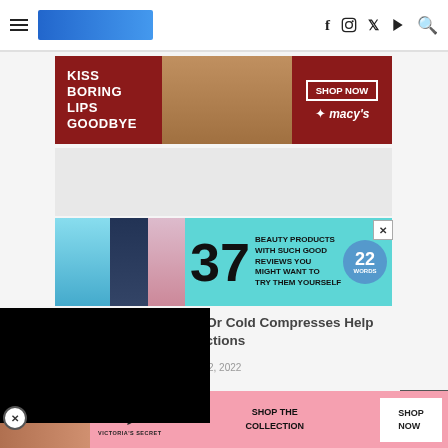Navigation header with hamburger menu, logo, and social icons (f, Instagram, Twitter, YouTube, Search)
[Figure (photo): Macy's advertisement banner: KISS BORING LIPS GOODBYE with woman wearing red lipstick, SHOP NOW button]
[Figure (infographic): 37 Beauty Products With Such Good Reviews You Might Want To Try Them Yourself - Buzzfeed style ad with teal background, product photos, 22 Words badge]
[Figure (screenshot): Black video overlay/player covering part of the page]
t Or Cold Compresses Help ections
ly 2, 2022
Popular
What Is A Sinus Migraine
[Figure (photo): Victoria's Secret advertisement: SHOP THE COLLECTION with woman's face, VS logo, SHOP NOW button]